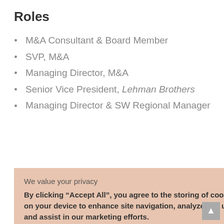Roles
M&A Consultant & Board Member
SVP, M&A
Managing Director, M&A
Senior Vice President, Lehman Brothers
Managing Director & SW Regional Manager
We value your privacy
By clicking “Accept All”, you agree to the storing of cookies on your device to enhance site navigation, analyze site usage, and assist in our marketing efforts.